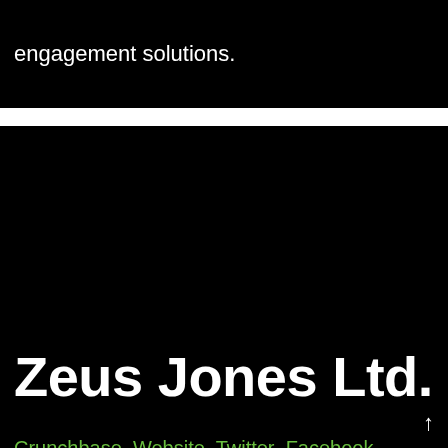engagement solutions.
Zeus Jones Ltd.
Crunchbase Website Twitter Facebook Linkedin
Zeus Jones Ltd. is a marketing and advertising company offering branding and